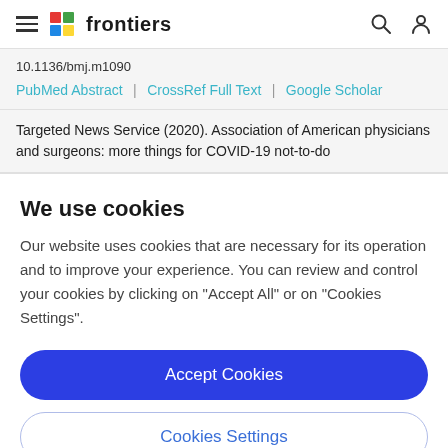frontiers
10.1136/bmj.m1090
PubMed Abstract | CrossRef Full Text | Google Scholar
Targeted News Service (2020). Association of American physicians and surgeons: more things for COVID-19 not-to-do
We use cookies
Our website uses cookies that are necessary for its operation and to improve your experience. You can review and control your cookies by clicking on "Accept All" or on "Cookies Settings".
Accept Cookies
Cookies Settings